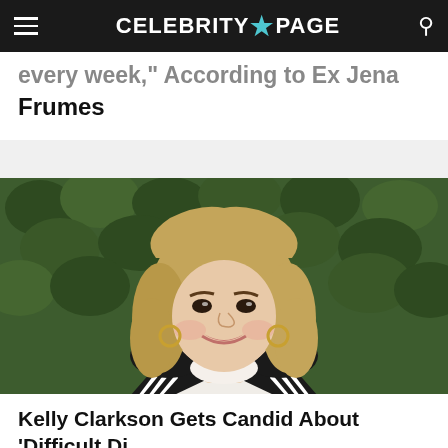CELEBRITY★PAGE
every week," According to Ex Jena Frumes
[Figure (photo): Kelly Clarkson smiling in a black-and-white striped blazer over a white turtleneck, standing in front of a green hedge wall backdrop]
Kelly Clarkson Gets Candid About 'Difficult Di...